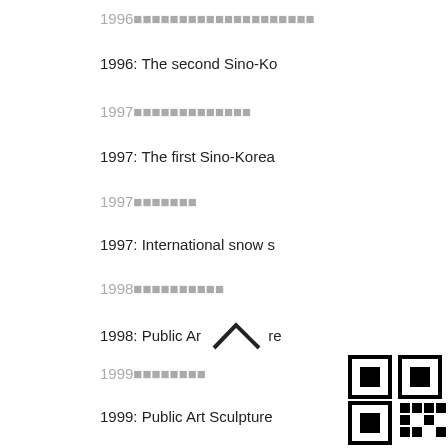1996 [Chinese characters]
1996: The second Sino-Ko...
1997 [Chinese characters]
1997: The first Sino-Korea...
1997 [Chinese characters]
1997: International snow s...
1998 [Chinese characters]
1998: Public Ar... re...
1999 [Chinese characters]
1999: Public Art Sculpture...
1999 [Chinese characters]
1999: The Third Sino Korea...
[Figure (other): QR code with chevron/home icon overlay in bottom-right area of right panel]